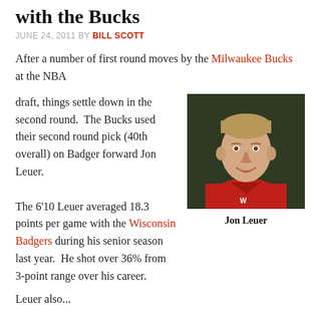with the Bucks
JUNE 24, 2011 BY BILL SCOTT
After a number of first round moves by the Milwaukee Bucks at the NBA
draft, things settle down in the second round.  The Bucks used their second round pick (40th overall) on Badger forward Jon Leuer.
[Figure (photo): Portrait photo of Jon Leuer in a red jacket against a dark background]
Jon Leuer
The 6'10 Leuer averaged 18.3 points per game with the Wisconsin Badgers during his senior season last year.  He shot over 36% from 3-point range over his career.
Leuer also...